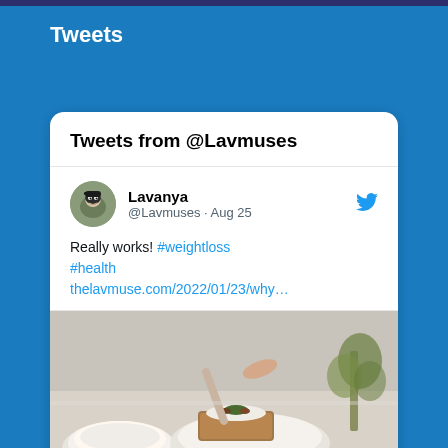Tweets
Tweets from @Lavmuses
Lavanya @Lavmuses · Aug 25
Really works! #weightloss #health thelavmuse.com/2022/01/23/why…
[Figure (photo): Food photo showing bread with toppings and cream on plates, being served with a spoon, with greenery in background]